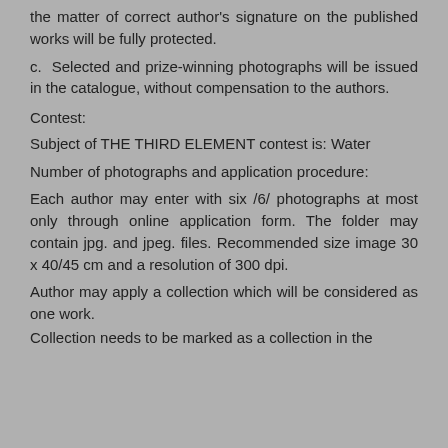the matter of correct author's signature on the published works will be fully protected.
c. Selected and prize-winning photographs will be issued in the catalogue, without compensation to the authors.
Contest:
Subject of THE THIRD ELEMENT contest is: Water
Number of photographs and application procedure:
Each author may enter with six /6/ photographs at most only through online application form. The folder may contain jpg. and jpeg. files. Recommended size image 30 x 40/45 cm and a resolution of 300 dpi.
Author may apply a collection which will be considered as one work.
Collection needs to be marked as a collection in the